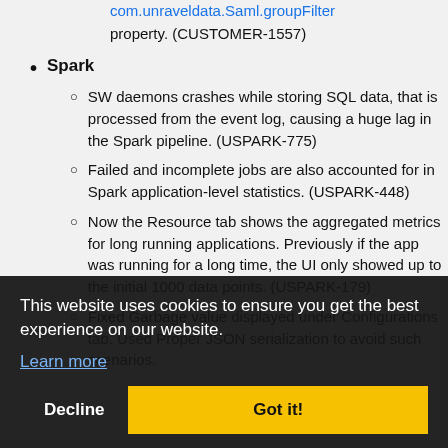com.unraveldata.Saml.groupFilter property. (CUSTOMER-1557)
Spark
SW daemons crashes while storing SQL data, that is processed from the event log, causing a huge lag in the Spark pipeline. (USPARK-775)
Failed and incomplete jobs are also accounted for in Spark application-level statistics. (USPARK-448)
Now the Resource tab shows the aggregated metrics for long running applications. Previously if the app was running for a long time, the UI only showed up to the initial 1000 data points. (USPARK-179)
Fixed Garbage value displayed under Configurations tab. Used Proper JSON serialization to avoid such scenarios.
This website uses cookies to ensure you get the best experience on our website. Learn more
Decline   Got it!